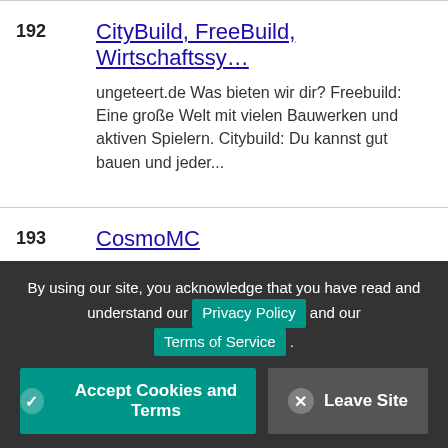192 CityBuild, FreeBuild, Wirtschaftssy... ungeteert.de Was bieten wir dir? Freebuild: Eine große Welt mit vielen Bauwerken und aktiven Spielern. Citybuild: Du kannst gut bauen und jeder...
193 CosmoMC CosmoMC un nuevo servidor con prision op con rankups, prestigios, kits op, y mas cosas unete ya y disfrutalo. estamos buscando staff. esta es tu...
194 VbVt VbVt is a vanilla anarchy server with the goal
By using our site, you acknowledge that you have read and understand our Privacy Policy and our Terms of Service .
Accept Cookies and Terms
Leave Site